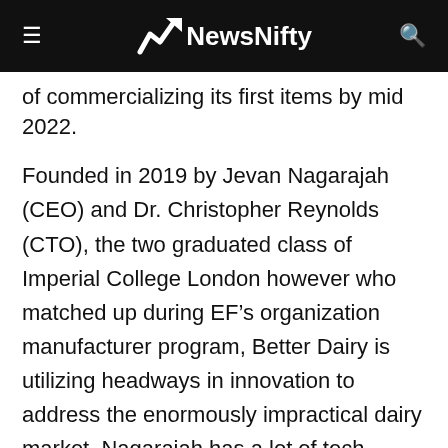≡ NewsNifty 🔍
of commercializing its first items by mid 2022.
Founded in 2019 by Jevan Nagarajah (CEO) and Dr. Christopher Reynolds (CTO), the two graduated class of Imperial College London however who matched up during EF's organization manufacturer program, Better Dairy is utilizing headways in innovation to address the enormously impractical dairy market. Nagarajah has a lot of tech organization experience, including stretches at Rocket Internet, SumUp, and Ritua, just as establishing early 'dull kitchen' startup ShareDining. Then, Reynolds holds a PhD and